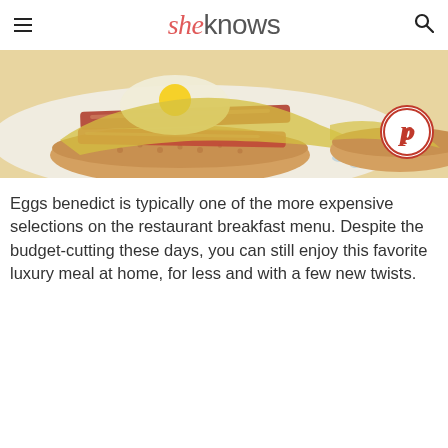sheknows
[Figure (photo): Close-up photo of eggs benedict on an English muffin with bacon and hollandaise sauce on a plate with blue floral pattern, with a Pinterest share button overlay]
Eggs benedict is typically one of the more expensive selections on the restaurant breakfast menu. Despite the budget-cutting these days, you can still enjoy this favorite luxury meal at home, for less and with a few new twists.